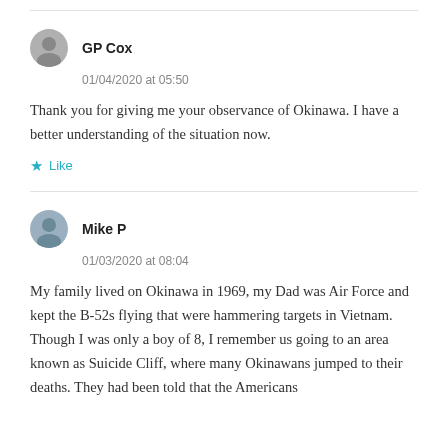GP Cox
01/04/2020 at 05:50
Thank you for giving me your observance of Okinawa. I have a better understanding of the situation now.
Like
Mike P
01/03/2020 at 08:04
My family lived on Okinawa in 1969, my Dad was Air Force and kept the B-52s flying that were hammering targets in Vietnam. Though I was only a boy of 8, I remember us going to an area known as Suicide Cliff, where many Okinawans jumped to their deaths. They had been told that the Americans